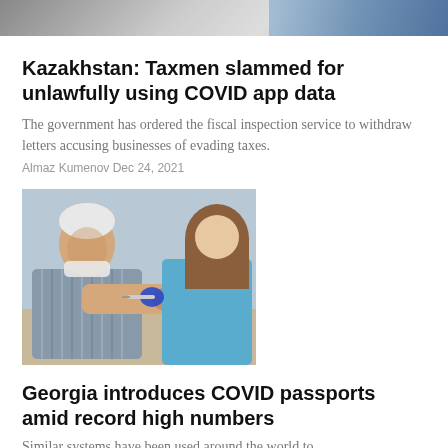[Figure (photo): Partial view of a cropped news photo at top of page showing people]
Kazakhstan: Taxmen slammed for unlawfully using COVID app data
The government has ordered the fiscal inspection service to withdraw letters accusing businesses of evading taxes.
Almaz Kumenov Dec 24, 2021
[Figure (photo): An elderly man with a lowered mask receiving a vaccine injection in his arm from a healthcare worker in blue scrubs and gloves]
Georgia introduces COVID passports amid record high numbers
Similar systems have been used around the world to